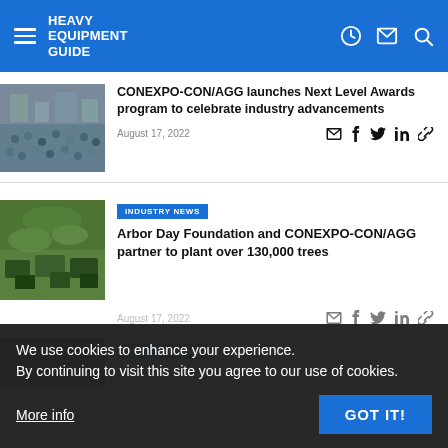Heavy Equipment Guide
[Figure (photo): Crowd at construction equipment expo, aerial view]
CONEXPO-CON/AGG launches Next Level Awards program to celebrate industry advancements
August 17, 2022
INDUSTRY NEWS
[Figure (photo): Aerial view of green construction equipment at expo]
Arbor Day Foundation and CONEXPO-CON/AGG partner to plant over 130,000 trees
August 17, 2022
We use cookies to enhance your experience. By continuing to visit this site you agree to our use of cookies.
More info
GOT IT!